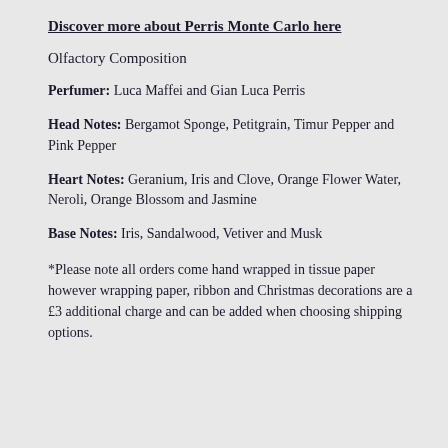Discover more about Perris Monte Carlo here
Olfactory Composition
Perfumer: Luca Maffei and Gian Luca Perris
Head Notes: Bergamot Sponge, Petitgrain, Timur Pepper and Pink Pepper
Heart Notes: Geranium, Iris and Clove, Orange Flower Water, Neroli, Orange Blossom and Jasmine
Base Notes: Iris, Sandalwood, Vetiver and Musk
*Please note all orders come hand wrapped in tissue paper however wrapping paper, ribbon and Christmas decorations are a £3 additional charge and can be added when choosing shipping options.